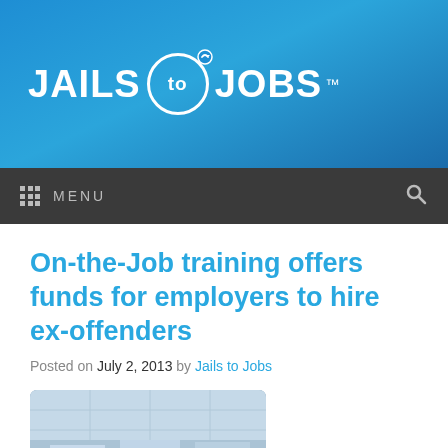JAILS TO JOBS™
MENU
On-the-Job training offers funds for employers to hire ex-offenders
Posted on July 2, 2013 by Jails to Jobs
[Figure (photo): Several people sitting at computers in a computer lab, viewed from behind]